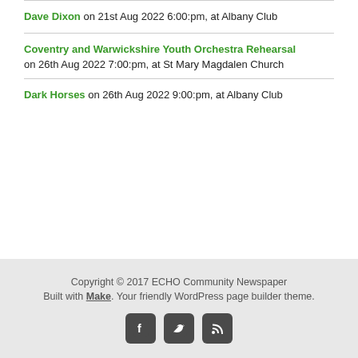Dave Dixon on 21st Aug 2022 6:00:pm, at Albany Club
Coventry and Warwickshire Youth Orchestra Rehearsal on 26th Aug 2022 7:00:pm, at St Mary Magdalen Church
Dark Horses on 26th Aug 2022 9:00:pm, at Albany Club
Copyright © 2017 ECHO Community Newspaper
Built with Make. Your friendly WordPress page builder theme.